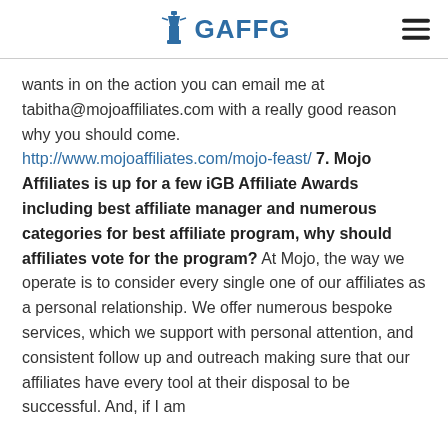GAFFG
wants in on the action you can email me at tabitha@mojoaffiliates.com with a really good reason why you should come. http://www.mojoaffiliates.com/mojo-feast/ 7. Mojo Affiliates is up for a few iGB Affiliate Awards including best affiliate manager and numerous categories for best affiliate program, why should affiliates vote for the program? At Mojo, the way we operate is to consider every single one of our affiliates as a personal relationship. We offer numerous bespoke services, which we support with personal attention, and consistent follow up and outreach making sure that our affiliates have every tool at their disposal to be successful. And, if I am